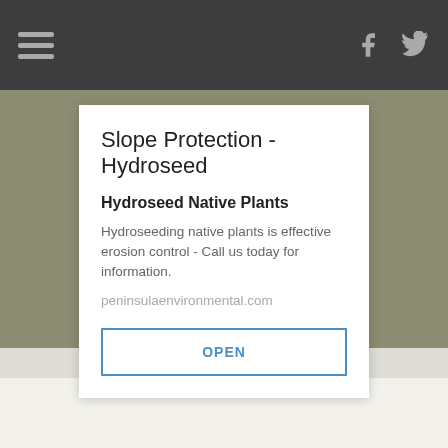Navigation bar with hamburger menu, Facebook icon, Twitter icon
Slope Protection - Hydroseed
Hydroseed Native Plants
Hydroseeding native plants is effective erosion control - Call us today for information.
peninsulaenvironmental.com
OPEN